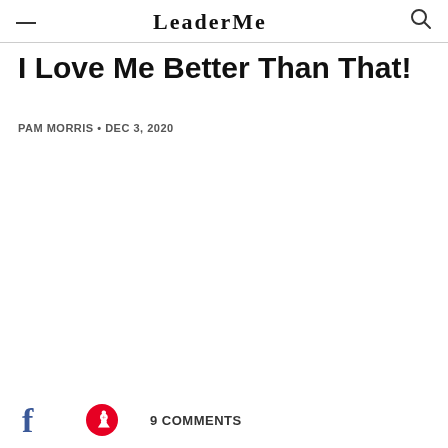— LeaderMe (logo) 🔍
I Love Me Better Than That!
PAM MORRIS • DEC 3, 2020
9 COMMENTS